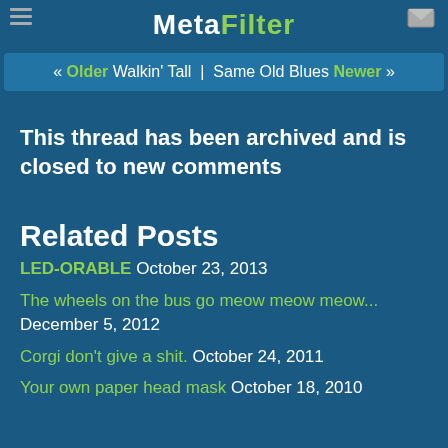MetaFilter
« Older Walkin' Tall | Same Old Blues Newer »
This thread has been archived and is closed to new comments
Related Posts
LED-ORABLE October 23, 2013
The wheels on the bus go meow meow meow... December 5, 2012
Corgi don't give a shit. October 24, 2011
Your own paper head mask October 18, 2010